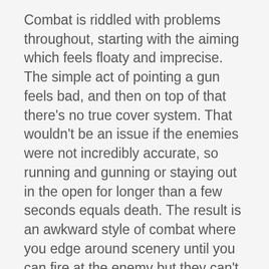Combat is riddled with problems throughout, starting with the aiming which feels floaty and imprecise. The simple act of pointing a gun feels bad, and then on top of that there's no true cover system. That wouldn't be an issue if the enemies were not incredibly accurate, so running and gunning or staying out in the open for longer than a few seconds equals death. The result is an awkward style of combat where you edge around scenery until you can fire at the enemy but they can't hit you. Crouching behind stuff works a little better since holding the aim button automatically pops you up but it's still clumsy. It's like Foreclosed can't choose between a fast-paced style of combat or a cover-based shooter and instead went with...well, nothing really. There's no direction.
The enemies you fight are dumber than a goldfish in a math competition. They'll charge into a room from